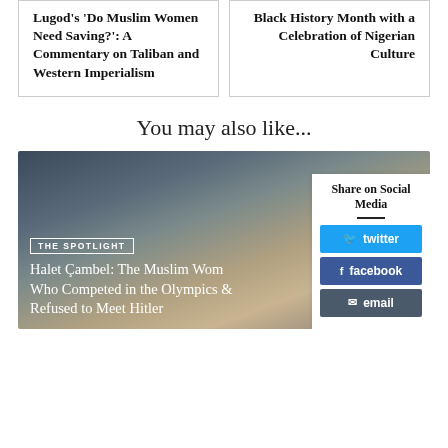Lugod's 'Do Muslim Women Need Saving?': A Commentary on Taliban and Western Imperialism
Black History Month with a Celebration of Nigerian Culture
You may also like...
[Figure (photo): Featured article image with dark overlay showing a bird, with 'THE SPOTLIGHT' badge and article title overlay]
Halet Çambel: The Muslim Woman Who Competed in the Olympics and Refused to Meet Hitler
Share on Social Media
twitter
facebook
email